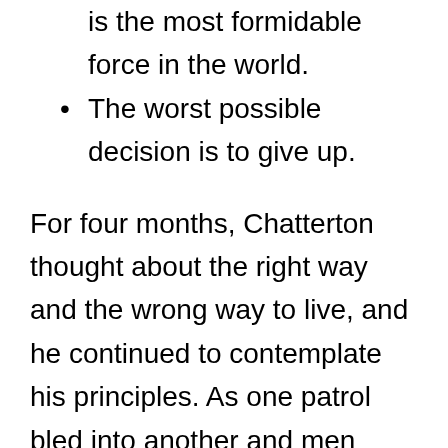is the most formidable force in the world.
The worst possible decision is to give up.
For four months, Chatterton thought about the right way and the wrong way to live, and he continued to contemplate his principles. As one patrol bled into another and men died, his thinking solidified, and he began to consider that it might have been for these insights that he